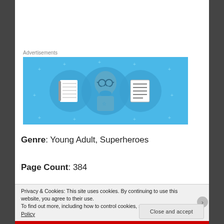[Figure (illustration): Advertisement banner with blue background showing a cartoon person with glasses and a beard, flanked by a notebook on the left and a lined notepad on the right, all within circular frames on a sky-blue background with small star/plus decorations]
Genre: Young Adult, Superheroes
Page Count: 384
Privacy & Cookies: This site uses cookies. By continuing to use this website, you agree to their use.
To find out more, including how to control cookies, see here: Cookie Policy
Close and accept